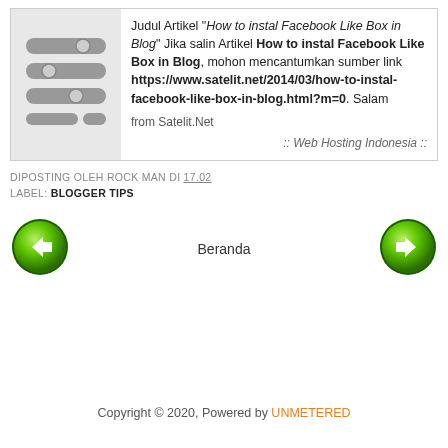[Figure (illustration): Gray icon showing stacked horizontal bars with circles, resembling a filter/settings icon]
Judul Artikel "How to instal Facebook Like Box in Blog" Jika salin Artikel How to instal Facebook Like Box in Blog, mohon mencantumkan sumber link https://www.satelit.net/2014/03/how-to-instal-facebook-like-box-in-blog.html?m=0. Salam
from Satelit.Net
:: Web Hosting Indonesia ::
DIPOSTING OLEH ROCK MAN DI 17.02
LABEL: BLOGGER TIPS
[Figure (illustration): Green circular back navigation arrow button]
Beranda
[Figure (illustration): Green circular forward navigation arrow button]
Copyright © 2020, Powered by UNMETERED